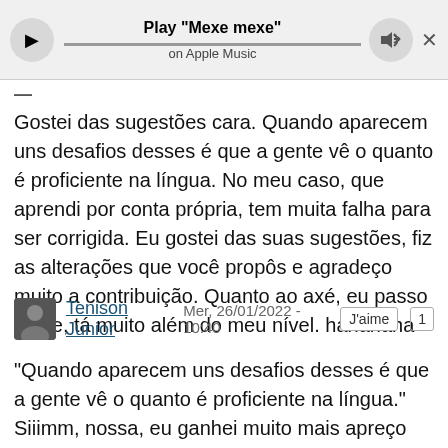[Figure (screenshot): Apple Music audio player bar showing play button, progress bar, volume button, and close button. Title: Play "Mexe mexe" on Apple Music]
—
Gostei das sugestões cara. Quando aparecem uns desafios desses é que a gente vê o quanto é proficiente na língua. No meu caso, que aprendi por conta própria, tem muita falha para ser corrigida. Eu gostei das suas sugestões, fiz as alterações que você propôs e agradeço muito a contribuição. Quanto ao axé, eu passo longe, tá muito além do meu nível. hahahaha
Tenison Junior   Mer, 26/01/2022 - 10:40   J'aime  1
"Quando aparecem uns desafios desses é que a gente vê o quanto é proficiente na língua." Siiimm, nossa, eu ganhei muito mais apreço pela língua portuguesa traduzindo músicas para o inglês. E descobri muitas coisas novas do inglês também! Acho um exercício muito prazeroso.
"No meu caso, que aprendi por conta própria, tem muita falha